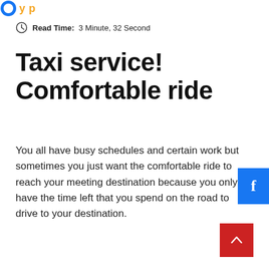[Figure (logo): Partial logo in top-left corner with blue and orange/yellow elements]
Read Time:  3 Minute, 32 Second
Taxi service! Comfortable ride
You all have busy schedules and certain work but sometimes you just want the comfortable ride to reach your meeting destination because you only have the time left that you spend on the road to drive to your destination.